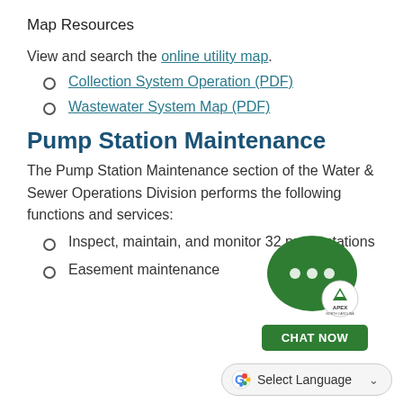Map Resources
View and search the online utility map.
Collection System Operation (PDF)
Wastewater System Map (PDF)
Pump Station Maintenance
The Pump Station Maintenance section of the Water & Sewer Operations Division performs the following functions and services:
Inspect, maintain, and monitor 32 pump stations
Easement maintenance
[Figure (logo): Apex chat widget with green speech bubble, Apex North Carolina logo, and green CHAT NOW button]
[Figure (other): Google Translate Select Language dropdown button]